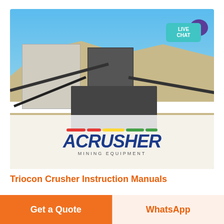[Figure (photo): Industrial crushing plant / quarry facility with conveyors and machinery against a hillside backdrop, with ACRUSHER Mining Equipment logo overlay at the bottom of the photo. A teal 'LIVE CHAT' badge with a purple speech bubble icon appears in the top-right corner of the photo.]
Triocon Crusher Instruction Manuals
Triocon crusher instruction manuals artgeneration triocon